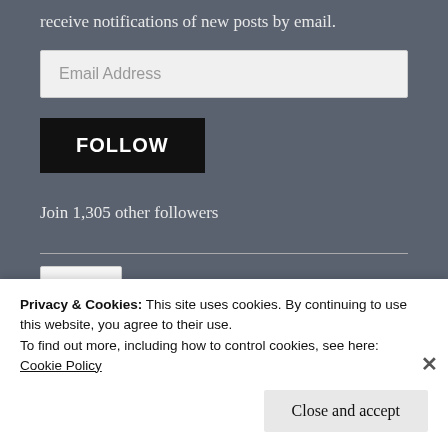receive notifications of new posts by email.
Email Address
FOLLOW
Join 1,305 other followers
Privacy & Cookies: This site uses cookies. By continuing to use this website, you agree to their use.
To find out more, including how to control cookies, see here:
Cookie Policy
Close and accept